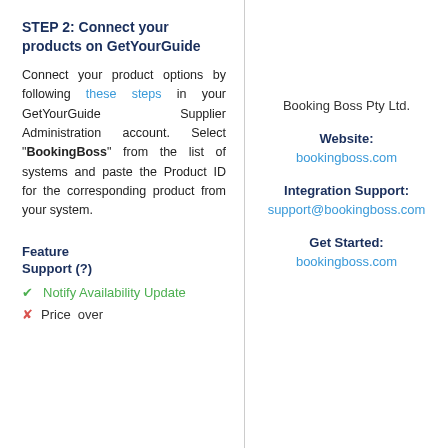STEP 2: Connect your products on GetYourGuide
Connect your product options by following these steps in your GetYourGuide Supplier Administration account. Select "BookingBoss" from the list of systems and paste the Product ID for the corresponding product from your system.
Feature Support (?)
✔ Notify Availability Update
✘ Price over
Booking Boss Pty Ltd.
Website: bookingboss.com
Integration Support: support@bookingboss.com
Get Started: bookingboss.com